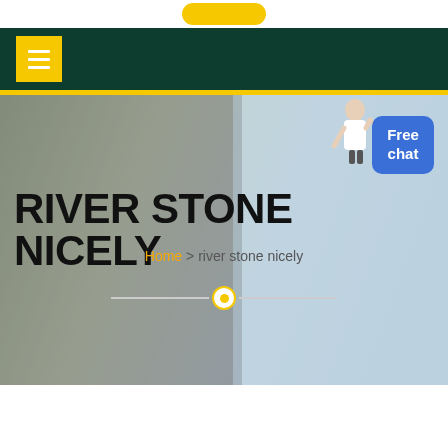[Figure (screenshot): Website screenshot showing navigation bar with hamburger menu button on dark green background, hero section with 'RIVER STONE NICELY' heading, breadcrumb navigation, and a Free chat button in blue]
RIVER STONE NICELY
Home > river stone nicely